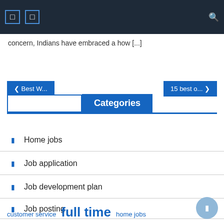Navigation bar with icons and search
concern, Indians have embraced a how [...]
❮ Best W...    15 best o... ❯
Categories
Home jobs
Job application
Job development plan
Job posting
Online jobs
customer service   full time   home jobs